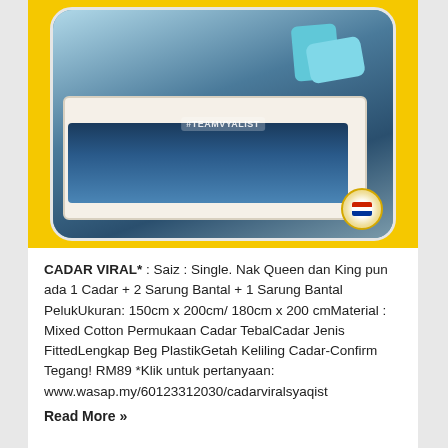[Figure (photo): Product listing photo of a bed with dark blue/teal bedsheet set on a white bed frame, displayed inside a yellow-background card with rounded corners. A watermark reads '#TEAMVYALIST'. A small Malaysian flag logo badge appears in the bottom right corner.]
CADAR VIRAL* : Saiz : Single. Nak Queen dan King pun ada 1 Cadar + 2 Sarung Bantal + 1 Sarung Bantal PelukUkuran: 150cm x 200cm/ 180cm x 200 cmMaterial : Mixed Cotton Permukaan Cadar TebalCadar Jenis FittedLengkap Beg PlastikGetah Keliling Cadar-Confirm Tegang! RM89 *Klik untuk pertanyaan: www.wasap.my/60123312030/cadarviralsyaqist
Read More »